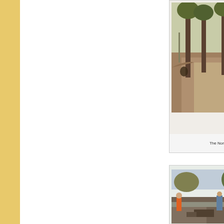[Figure (photo): Photograph showing the north end of a site with tall trees and a cleared dirt path, with machinery visible in the background]
The North end of 1A
[Figure (photo): Construction photograph showing workers and machinery at a site with stone walls and excavation work underway]